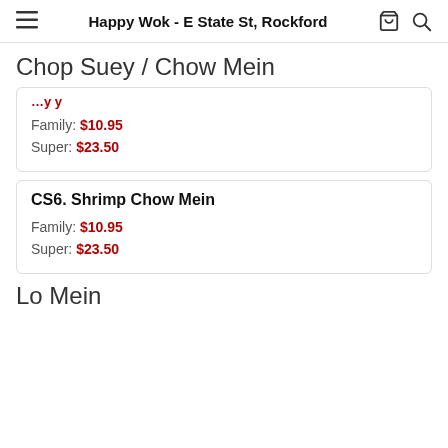Happy Wok - E State St, Rockford
Chop Suey / Chow Mein
Family: $10.95
Super: $23.50
CS6. Shrimp Chow Mein
Family: $10.95
Super: $23.50
Lo Mein